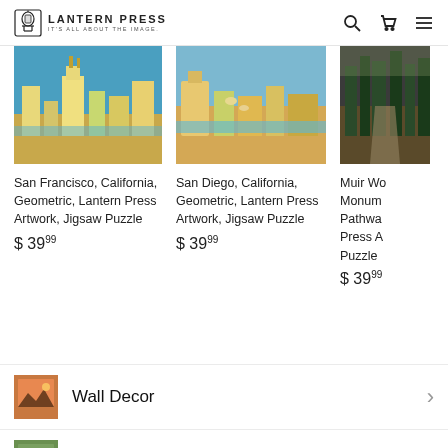Lantern Press — It's All About The Image. Search, Cart, Menu icons.
[Figure (photo): San Francisco California geometric illustration puzzle product image]
San Francisco, California, Geometric, Lantern Press Artwork, Jigsaw Puzzle
$ 39.99
[Figure (photo): San Diego California geometric illustration puzzle product image]
San Diego, California, Geometric, Lantern Press Artwork, Jigsaw Puzzle
$ 39.99
[Figure (photo): Muir Woods Monument Pathway Lantern Press Artwork puzzle product image (partially visible)]
Muir Wo... Monum... Pathwa... Press A... Puzzle
$ 39.99
[Figure (photo): Wall Decor category thumbnail]
Wall Decor
[Figure (photo): Second category thumbnail (partially visible)]